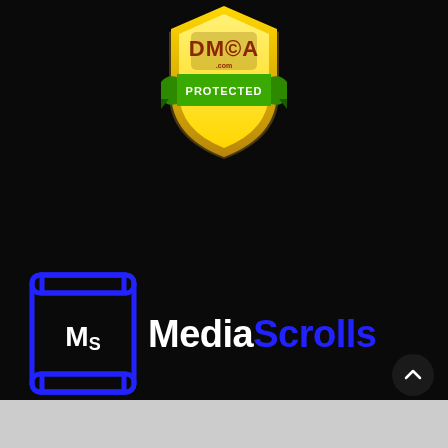[Figure (logo): DMCA.com Protected badge - gold shield with green ribbon, text DMCA.com and PROTECTED]
[Figure (logo): MediaScrolls logo - blue scroll icon with MS letters and MediaScrolls text, Media in white bold, Scrolls in blue bold]